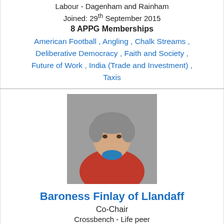Labour - Dagenham and Rainham
Joined: 29th September 2015
8 APPG Memberships
American Football , Angling , Chalk Streams , Deliberative Democracy , Faith and Society , Future of Work , India (Trade and Investment) , Taxis
[Figure (photo): Portrait photo of Baroness Finlay of Llandaff, a woman with short grey hair wearing a red jacket]
Baroness Finlay of Llandaff
Co-Chair
Crossbench - Life peer
Joined: 29th September 2015
26 APPG Memberships
Alcohol Harm , Australia and New Zealand , Bereavement Support , Bladder and Bowel Continence Care , Cancer , Carbon Monoxide